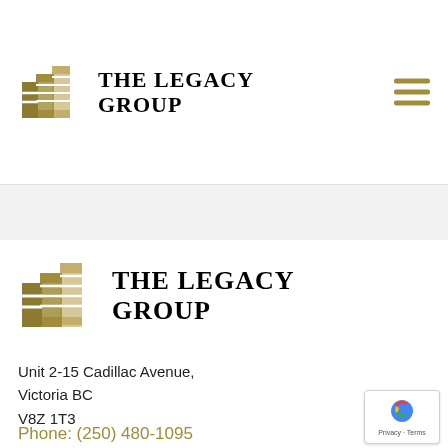[Figure (logo): The Legacy Group logo in header — gold layered bracket icon with bold serif 'THE LEGACY GROUP' text]
[Figure (logo): The Legacy Group logo in lower section — larger gold layered bracket icon with bold serif 'THE LEGACY GROUP' text]
Unit 2-15 Cadillac Avenue,
Victoria BC
V8Z 1T3
Phone: (250) 480-1095